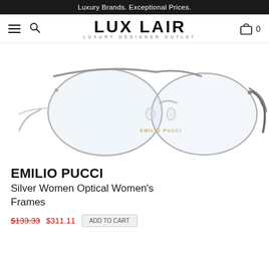Luxury Brands. Exceptional Prices.
[Figure (logo): LUX LAIR LUXURY DESIGNER OUTLET logo with hamburger menu, search icon, and cart icon showing 0 items]
[Figure (photo): Emilio Pucci silver optical eyeglasses frames shown from front and side angle against white background. Gold Emilio Pucci branding visible on the frame.]
EMILIO PUCCI
Silver Women Optical Women's Frames
$133.33  $311.11